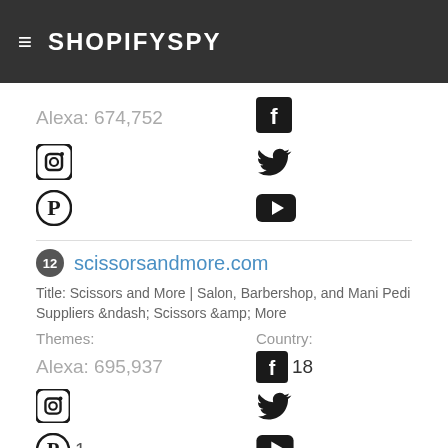SHOPIFYSPY
Alexa: 674,752
12 scissorsandmore.com
Title: Scissors and More | Salon, Barbershop, and Mani Pedi Suppliers &ndash; Scissors &amp; More
Themes: Country:
Alexa: 695,937
18
1